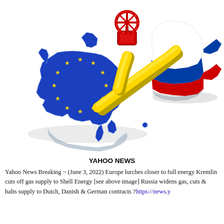[Figure (illustration): 3D illustration of EU map (blue with yellow stars) connected by a yellow gas pipeline with a red valve/wheel on top, leading to a Russia-flag colored landmass (white/blue/red) in the upper right corner. White background.]
YAHOO NEWS
Yahoo News Breaking ~ (June 3, 2022) Europe lurches closer to full energy... Kremlin cuts off gas supply to Shell Energy [see above image] Russia widens gas, cuts & halts supply to Dutch, Danish & German contracts ?https://news.y...